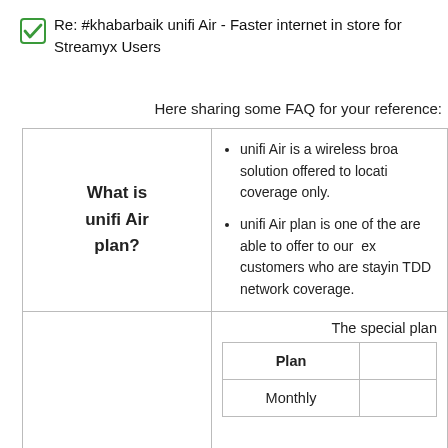[Figure (other): Green checkbox checkmark icon]
Re: #khabarbaik unifi Air - Faster internet in store for Streamyx Users
Here sharing some FAQ for your reference:
|  |  |
| --- | --- |
| What is unifi Air plan? | unifi Air is a wireless broa solution offered to locati coverage only.
unifi Air plan is one of the are able to offer to our ex customers who are stayin TDD network coverage. |
|  | The special plan
Plan | Monthly |